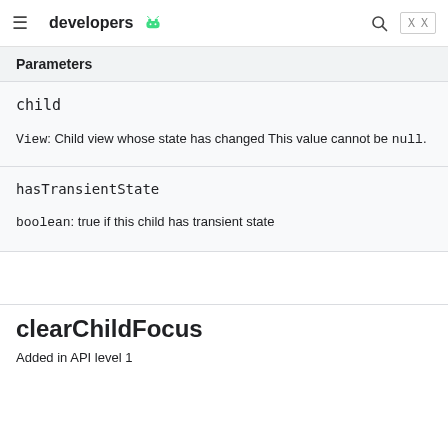developers
Parameters
child
View: Child view whose state has changed This value cannot be null.
hasTransientState
boolean: true if this child has transient state
clearChildFocus
Added in API level 1